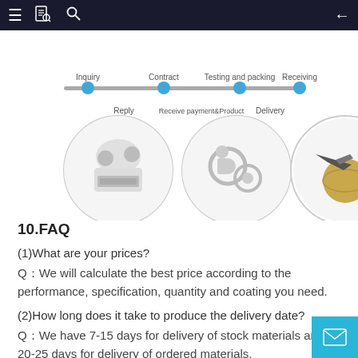Navigation bar with menu, document, search icons and back arrow
[Figure (infographic): Process flow diagram showing steps: Inquiry → Reply → Contract → Receive payment & Product → Testing and packing → Delivery → Receiving, with three circular images showing customer service agents, gears/machinery, and airplane/globe delivery]
10.FAQ
(1)What are your prices?
Q：We will calculate the best price according to the performance, specification, quantity and coating you need.
(2)How long does it take to produce the delivery date?
Q：We have 7-15 days for delivery of stock materials and 20-25 days for delivery of ordered materials.